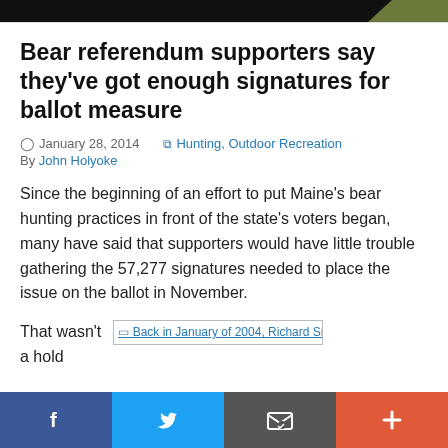Bear referendum supporters say they've got enough signatures for ballot measure
January 28, 2014   Hunting, Outdoor Recreation
By John Holyoke
Since the beginning of an effort to put Maine's bear hunting practices in front of the state's voters began, many have said that supporters would have little trouble gathering the 57,277 signatures needed to place the issue on the ballot in November.
That wasn't a hold
[Figure (photo): Inline image placeholder: Back in January of 2004, Richard Smith,]